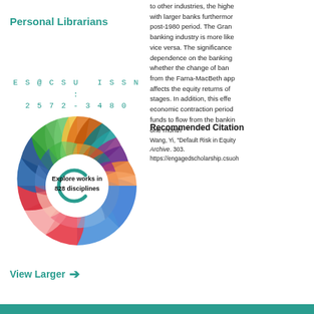Personal Librarians
ES@CSU ISSN:
2572-3480
[Figure (donut-chart): Sunburst/donut chart showing 'Explore works in 828 disciplines' with colorful segments representing different academic disciplines]
View Larger →
to other industries, the highe... with larger banks furthermor... post-1980 period. The Gran... banking industry is more like... vice versa. The significance... dependence on the banking... whether the change of ban... from the Fama-MacBeth app... affects the equity returns of ... stages. In addition, this effe... economic contraction period... funds to flow from the bankin... one month
Recommended Citation
Wang, Yi, "Default Risk in Equity ... Archive. 303.
https://engagedscholarship.csuoh...